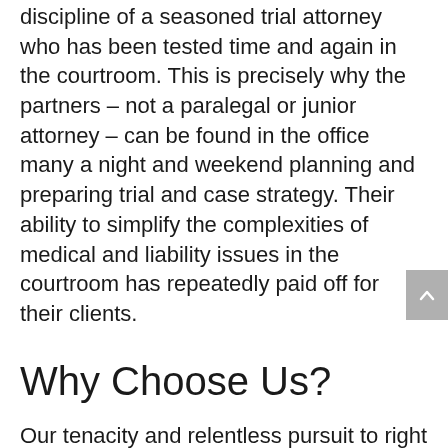discipline of a seasoned trial attorney who has been tested time and again in the courtroom. This is precisely why the partners – not a paralegal or junior attorney – can be found in the office many a night and weekend planning and preparing trial and case strategy. Their ability to simplify the complexities of medical and liability issues in the courtroom has repeatedly paid off for their clients.
Why Choose Us?
Our tenacity and relentless pursuit to right the wrongs committed against our clients has been rewarded inside